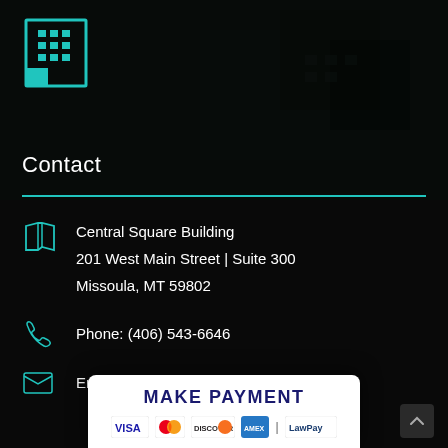[Figure (illustration): Dark building/office exterior photo background with overlay]
Contact
Central Square Building
201 West Main Street | Suite 300
Missoula, MT 59802
Phone: (406) 543-6646
Email: ammurray@boonekarlberg.com
MAKE PAYMENT